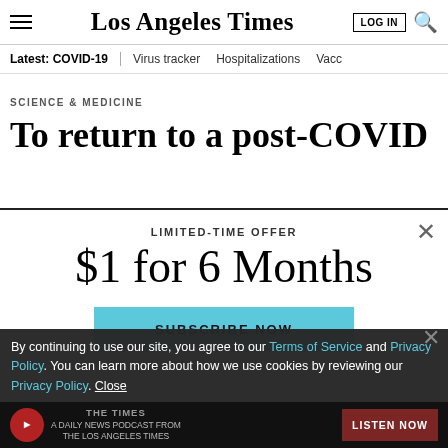Los Angeles Times
SCIENCE & MEDICINE
To return to a post-COVID normal
LIMITED-TIME OFFER
$1 for 6 Months
SUBSCRIBE NOW
By continuing to use our site, you agree to our Terms of Service and Privacy Policy. You can learn more about how we use cookies by reviewing our Privacy Policy. Close